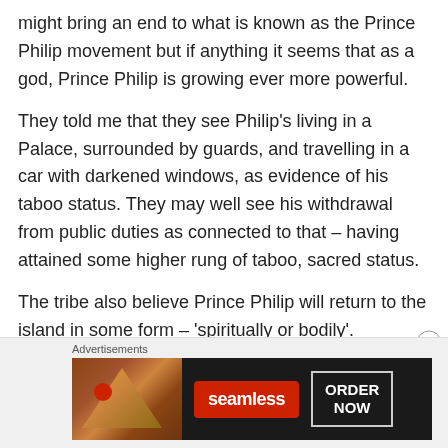might bring an end to what is known as the Prince Philip movement but if anything it seems that as a god, Prince Philip is growing ever more powerful.
They told me that they see Philip's living in a Palace, surrounded by guards, and travelling in a car with darkened windows, as evidence of his taboo status. They may well see his withdrawal from public duties as connected to that – having attained some higher rung of taboo, sacred status.
The tribe also believe Prince Philip will return to the island in some form – 'spiritually or bodily'.
[Figure (other): Advertisement banner for Seamless food ordering service showing pizza image, Seamless logo in red, and ORDER NOW button]